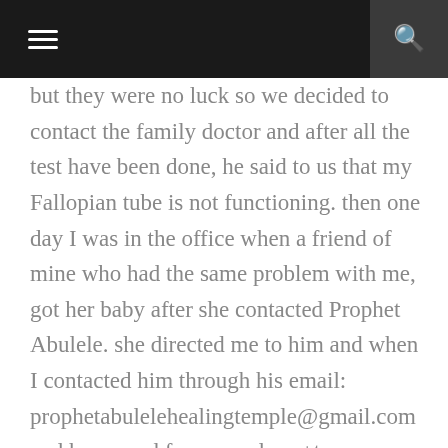navigation header with menu and search icons
but they were no luck so we decided to contact the family doctor and after all the test have been done, he said to us that my Fallopian tube is not functioning. then one day I was in the office when a friend of mine who had the same problem with me, got her baby after she contacted Prophet Abulele. she directed me to him and when I contacted him through his email: prophetabulelehealingtemple@gmail.com and he prayed for me and sen+t me an herbal